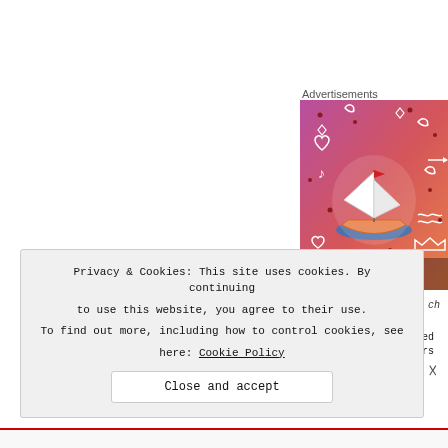Advertisements
[Figure (illustration): Colorful advertisement image with pink/orange gradient background, a sailboat illustration in the center, decorative doodles (hearts, leaves, music notes, arrows), and bold letters 'F A N' at the bottom]
Ms. Pam Lim- Cinco ( ch
Risa Ch
Ms. Pam Lim-Cinco used
employee about 3 years
Privacy & Cookies: This site uses cookies. By continuing to use this website, you agree to their use.
To find out more, including how to control cookies, see here: Cookie Policy
Close and accept